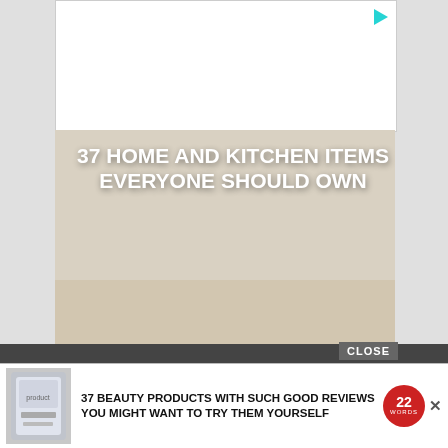[Figure (photo): White advertisement banner at top with play icon in top right corner]
[Figure (photo): Article hero image: person using a red pizza wheel cutter on a pizza on a wooden board, with overlaid white bold text reading '37 HOME AND KITCHEN ITEMS EVERYONE SHOULD OWN']
Privacy Policy
Copyright © 2022 · Metro Pro on Genesis Framework · WordPress ·
[Figure (photo): Bottom advertisement banner: product image of a cream/beauty product jar on the left, bold text '37 BEAUTY PRODUCTS WITH SUCH GOOD REVIEWS YOU MIGHT WANT TO TRY THEM YOURSELF', red circular badge with '22 WORDS', and an X close button. Above the banner is a grey 'CLOSE' button.]